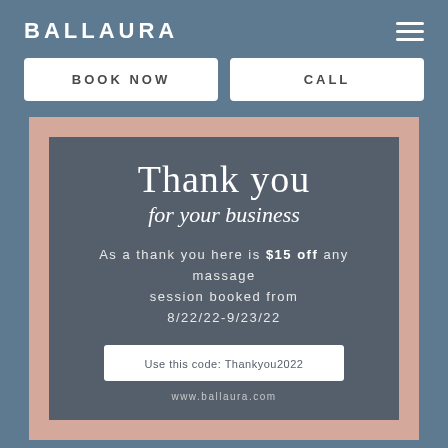BALLAURA
BOOK NOW
CALL
[Figure (infographic): Thank you card with dark gray background on pink background. Text reads: Thank you for your business. As a thank you here is $15 off any massage session booked from 8/22/22-9/23/22. Use this code: Thankyou2022. www.ballaura.com]